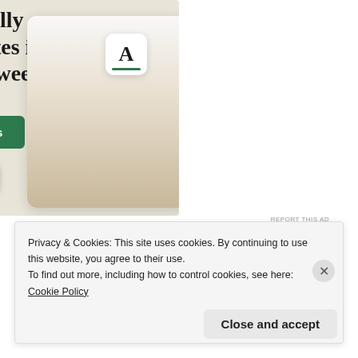[Figure (screenshot): WordPress advertisement banner with beige background showing 'Professionally designed sites in less than a week' headline, green 'Explore options' button, WordPress logo, and website mockup screenshots]
REPORT THIS AD
Rate this:
[Figure (other): Star rating row with 5 outlined stars and a blue info circle]
Privacy & Cookies: This site uses cookies. By continuing to use this website, you agree to their use.
To find out more, including how to control cookies, see here: Cookie Policy
Close and accept